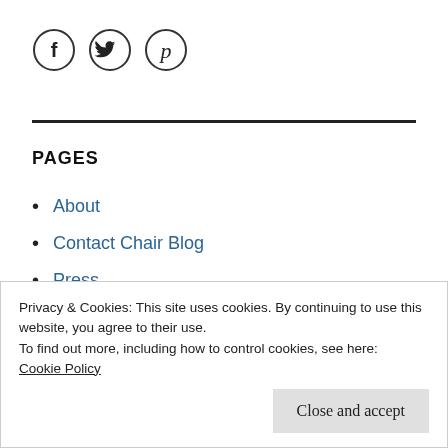[Figure (illustration): Three social media icon circles: Facebook (f), Twitter (bird), Pinterest (P)]
PAGES
About
Contact Chair Blog
Press
Rules of Engagement
Privacy & Cookies: This site uses cookies. By continuing to use this website, you agree to their use.
To find out more, including how to control cookies, see here:
Cookie Policy
Close and accept